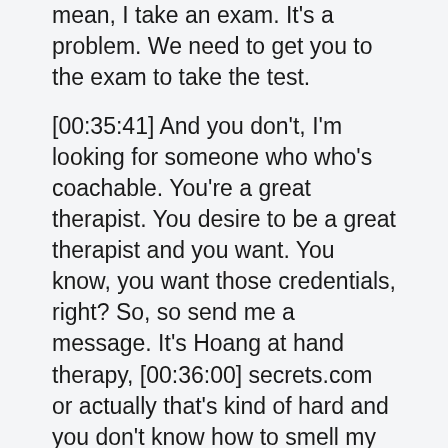mean, I take an exam. It's a problem. We need to get you to the exam to take the test.
[00:35:41] And you don't, I'm looking for someone who who's coachable. You're a great therapist. You desire to be a great therapist and you want. You know, you want those credentials, right? So, so send me a message. It's Hoang at hand therapy, [00:36:00] secrets.com or actually that's kind of hard and you don't know how to smell my name.
[00:36:03] So that's okay. You can info@handtherapistsecrets.com and that will get to me as well, but you can always go on our website. Hand therapy, secrets.com. And I invite you to apply to enroll into the program. I am taking new